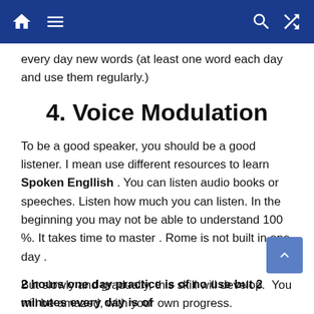Navigation bar with home, menu, search, and shuffle icons
every day new words (at least one word each day and use them regularly.)
4. Voice Modulation
To be a good speaker, you should be a good listener. I mean use different resources to learn Spoken Engllish . You can listen audio books or speeches. Listen how much you can listen. In the beginning you may not be able to understand 100 %. It takes time to master . Rome is not built in one day .
But slowly and gradually, this skill will develop.  You will be amazed, with your own progress.
Consistency and discipline is required everywhere.
2 hours one day practice is of no use but 2 minutes every day is of